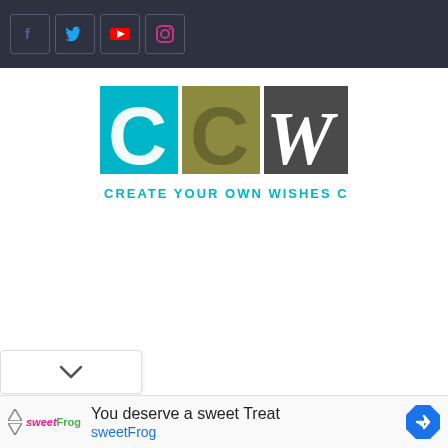Social media navigation bar with Facebook, Twitter, YouTube, Instagram icons
[Figure (logo): CCW - Create Your Own Wishes Card logo. Three colored blocks: cyan C, olive/gold C, dark gray W, with italic white lettering. Tagline: CREATE YOUR OWN WISHES CARD in cyan.]
[Figure (other): Dropdown chevron control element]
[Figure (other): Advertisement banner: sweetFrog - You deserve a sweet Treat, sweetFrog link, navigation arrow icon]